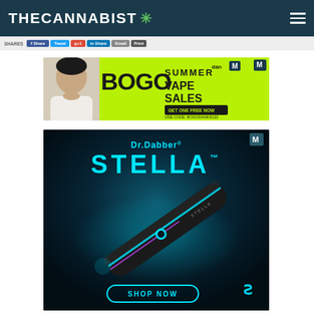THE CANNABIST
SHARES
[Figure (screenshot): BOGO Summer Vape Sales advertisement banner with green background and person photo]
[Figure (screenshot): Dr.Dabber Stella vape pen advertisement with dark teal background, cyan text, and product image with SHOP NOW button]